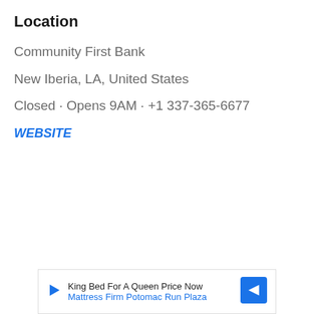Location
Community First Bank
New Iberia, LA, United States
Closed · Opens 9AM · +1 337-365-6677
WEBSITE
King Bed For A Queen Price Now
Mattress Firm Potomac Run Plaza